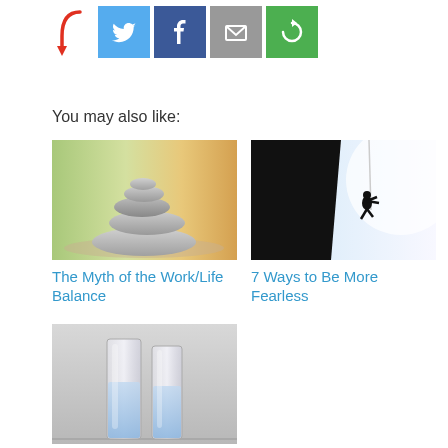[Figure (infographic): Social sharing buttons row: red arrow pointing right, then Twitter (blue bird), Facebook (blue f), Email (grey envelope), Share (green circular arrow) icons]
You may also like:
[Figure (photo): Stacked zen stones balanced on top of each other with green and warm bokeh background]
The Myth of the Work/Life Balance
[Figure (photo): Silhouette of a person rock climbing on a cliff face against a bright sky]
7 Ways to Be More Fearless
[Figure (photo): Two glasses of water side by side on grey background, one half empty and one half full]
Are You an Optimist or a Pessimist?
Want to Succeed? Get Used to Rejection